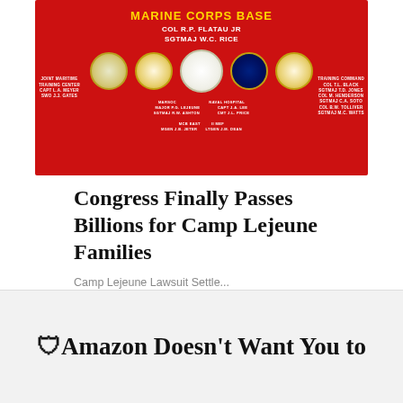[Figure (photo): Red Marine Corps Base sign with gold lettering 'MARINE CORPS BASE' and 'COL R.P. FLATAU JR / SGTMAJ W.C. RICE', featuring multiple military unit emblems/medallions on a red background with various unit names listed.]
Congress Finally Passes Billions for Camp Lejeune Families
Camp Lejeune Lawsuit Settle...
🛡Amazon Doesn't Want You to